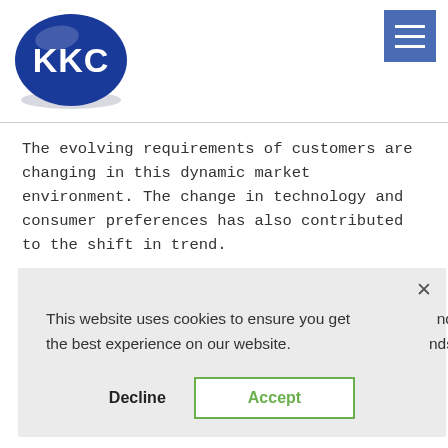[Figure (logo): KKC logo — white KKC text on a blue oval/egg shape with a shadow beneath]
[Figure (other): Blue square hamburger menu button with three white horizontal lines]
The evolving requirements of customers are changing in this dynamic market environment. The change in technology and consumer preferences has also contributed to the shift in trend.
This website uses cookies to ensure you get the best experience on our website. [partially overlaid by cookie dialog] nd nds
Decline  Accept